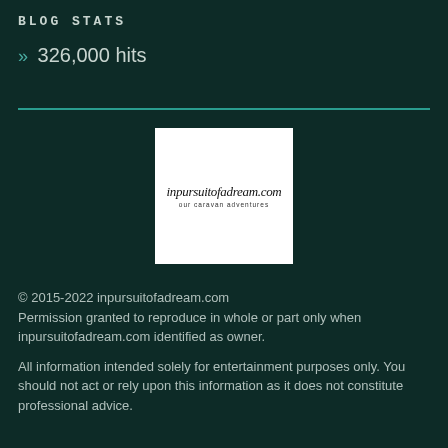BLOG STATS
» 326,000 hits
[Figure (logo): inpursuitofadream.com logo — cursive script text with tagline 'our caravan adventures' on white background]
© 2015-2022 inpursuitofadream.com
Permission granted to reproduce in whole or part only when inpursuitofadream.com identified as owner.

All information intended solely for entertainment purposes only. You should not act or rely upon this information as it does not constitute professional advice.